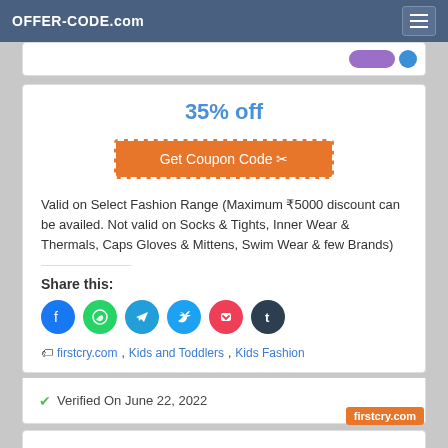OFFER-CODE.com
35% off
Get Coupon Code ✂
Valid on Select Fashion Range (Maximum ₹5000 discount can be availed. Not valid on Socks & Tights, Inner Wear & Thermals, Caps Gloves & Mittens, Swim Wear & few Brands)
Share this:
[Figure (infographic): Social share icons: Facebook, WhatsApp, Telegram, Twitter, Pocket, Tumblr]
firstcry.com, Kids and Toddlers, Kids Fashion
Verified On June 22, 2022